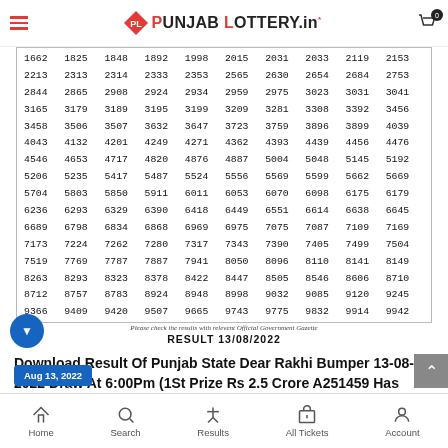PL Punjab Lottery.in
| 1662 | 1825 | 1848 | 1892 | 1998 | 2015 | 2031 | 2033 | 2119 | 2153 |
| 2213 | 2313 | 2314 | 2333 | 2353 | 2565 | 2630 | 2654 | 2684 | 2753 |
| 2844 | 2865 | 2908 | 2924 | 2934 | 2959 | 2975 | 3023 | 3031 | 3041 |
| 3165 | 3179 | 3189 | 3195 | 3199 | 3209 | 3281 | 3308 | 3392 | 3456 |
| 3458 | 3506 | 3507 | 3632 | 3647 | 3723 | 3759 | 3896 | 3899 | 4039 |
| 4043 | 4132 | 4201 | 4249 | 4271 | 4362 | 4393 | 4439 | 4456 | 4476 |
| 4546 | 4653 | 4717 | 4820 | 4876 | 4887 | 5004 | 5048 | 5145 | 5192 |
| 5206 | 5235 | 5417 | 5487 | 5524 | 5556 | 5569 | 5599 | 5662 | 5669 |
| 5704 | 5803 | 5850 | 5911 | 6011 | 6053 | 6070 | 6098 | 6175 | 6179 |
| 6236 | 6293 | 6329 | 6390 | 6418 | 6449 | 6551 | 6614 | 6638 | 6645 |
| 6689 | 6798 | 6834 | 6868 | 6969 | 6975 | 7075 | 7087 | 7109 | 7169 |
| 7173 | 7224 | 7262 | 7280 | 7317 | 7343 | 7390 | 7405 | 7499 | 7504 |
| 7519 | 7769 | 7787 | 7887 | 7941 | 8050 | 8096 | 8110 | 8141 | 8149 |
| 8263 | 8293 | 8323 | 8378 | 8422 | 8447 | 8505 | 8546 | 8606 | 8710 |
| 8712 | 8757 | 8783 | 8924 | 8948 | 8998 | 9032 | 9085 | 9120 | 9245 |
| 9366 | 9409 | 9420 | 9507 | 9665 | 9743 | 9775 | 9832 | 9914 | 9942 |
Please check the results with relevent Official Government Gazette
RESULT 13/08/2022
Download Result Of Punjab State Dear Rakhi Bumper 13-08-2022 Draw At 6:00Pm (1St Prize Rs 2.5 Crore A251459 Has Been Sold By Https://Punjablottery.In)
Home  Search  Results  All Tickets  Account